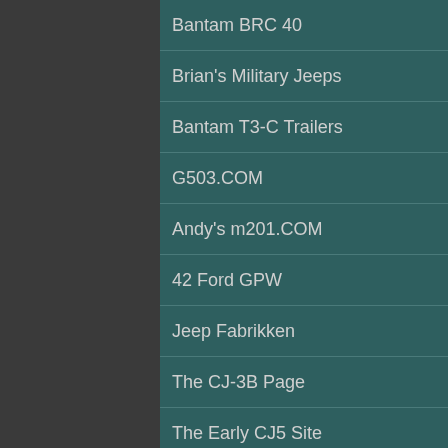| Bantam BRC 40 | M38-M38A1_M606 |
| Brian's Military Jeeps | M151 Site |
| Bantam T3-C Trailers | Rotabuggy (flying jeep) |
| G503.COM | Farm Jeep (AgriJeeps) |
| Andy's m201.COM | The CJ-2A Page |
| 42 Ford GPW | The CJ-3A Page |
| Jeep Fabrikken | The CJ-3A Info Page |
| The CJ-3B Page | KaiserWillys History |
| The Early CJ5 Site | Visual Reference Site |
| The FC Connection | OffRoad Action Site |
| Willys Jeep Trucks | This Old Jeep |
| Willys Country (Wagons) | Bram Van Buuren Jeeps |
| Old Willys Forum | Paratrooper Vehicles |
| Willys Tech | Jeepster Club |
| Hanson Mechanical | Hungarian Jeep Website |
| Jeepster Registry & Info | Long Range Desert Group |